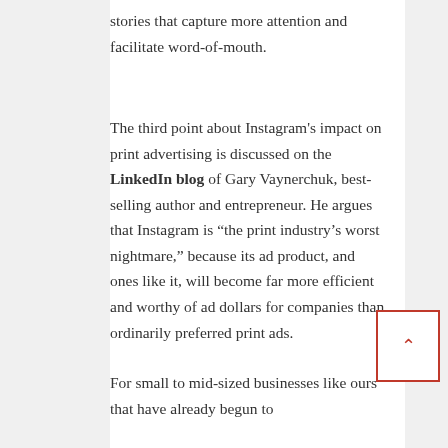stories that capture more attention and facilitate word-of-mouth.
The third point about Instagram's impact on print advertising is discussed on the LinkedIn blog of Gary Vaynerchuk, best-selling author and entrepreneur. He argues that Instagram is “the print industry’s worst nightmare,” because its ad product, and ones like it, will become far more efficient and worthy of ad dollars for companies than ordinarily preferred print ads.
For small to mid-sized businesses like ours that have already begun to